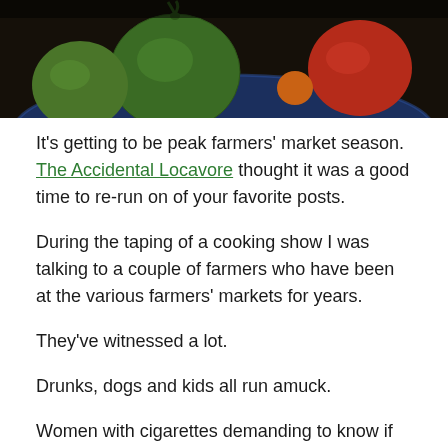[Figure (photo): Close-up photo of green tomatoes and a red tomato in a blue decorative bowl against a dark background, cropped at top of frame]
It's getting to be peak farmers' market season. The Accidental Locavore thought it was a good time to re-run on of your favorite posts.
During the taping of a cooking show I was talking to a couple of farmers who have been at the various farmers' markets for years.
They've witnessed a lot.
Drunks, dogs and kids all run amuck.
Women with cigarettes demanding to know if the produce is organic.